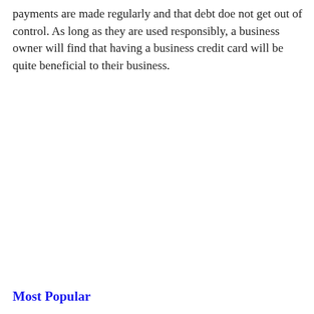payments are made regularly and that debt doe not get out of control. As long as they are used responsibly, a business owner will find that having a business credit card will be quite beneficial to their business.
Most Popular